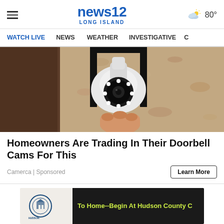news12 LONG ISLAND — 80°
WATCH LIVE | NEWS | WEATHER | INVESTIGATIVE | CO
[Figure (photo): A white security camera mounted on a black metal bracket attached to a textured stone/stucco wall exterior. A hand is visible holding or adjusting the camera.]
Homeowners Are Trading In Their Doorbell Cams For This
Camerca | Sponsored
Learn More
[Figure (photo): Advertisement for Hudson County Community College. Shows a Hudson County Community College logo on a light background, with a dark banner reading 'To Home--Begin At Hudson County C' in yellow text.]